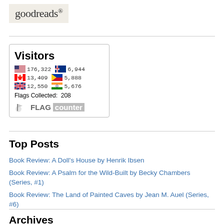[Figure (logo): Goodreads logo — text 'goodreads' with a dot superscript on a beige/cream background]
[Figure (infographic): Flag Counter widget showing visitor counts by country: US 176,322; Australia 6,944; Canada 13,409; Philippines 5,888; UK 12,550; India 5,676; Flags Collected: 208. Includes Flag Counter branding at bottom.]
Top Posts
Book Review: A Doll's House by Henrik Ibsen
Book Review: A Psalm for the Wild-Built by Becky Chambers (Series, #1)
Book Review: The Land of Painted Caves by Jean M. Auel (Series, #6)
Archives